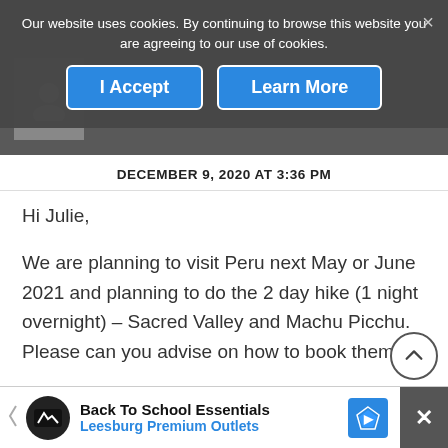Our website uses cookies. By continuing to browse this website you are agreeing to our use of cookies.
I Accept
Learn More
DECEMBER 9, 2020 AT 3:36 PM
Hi Julie,
We are planning to visit Peru next May or June 2021 and planning to do the 2 day hike (1 night overnight) – Sacred Valley and Machu Picchu. Please can you advise on how to book them.
[Figure (screenshot): Cookie consent overlay with 'I Accept' and 'Learn More' blue buttons on a dark background]
Back To School Essentials
Leesburg Premium Outlets